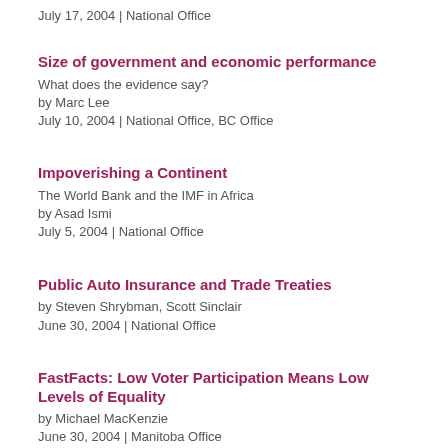July 17, 2004 | National Office
Size of government and economic performance
What does the evidence say?
by Marc Lee
July 10, 2004 | National Office, BC Office
Impoverishing a Continent
The World Bank and the IMF in Africa
by Asad Ismi
July 5, 2004 | National Office
Public Auto Insurance and Trade Treaties
by Steven Shrybman, Scott Sinclair
June 30, 2004 | National Office
FastFacts: Low Voter Participation Means Low Levels of Equality
by Michael MacKenzie
June 30, 2004 | Manitoba Office